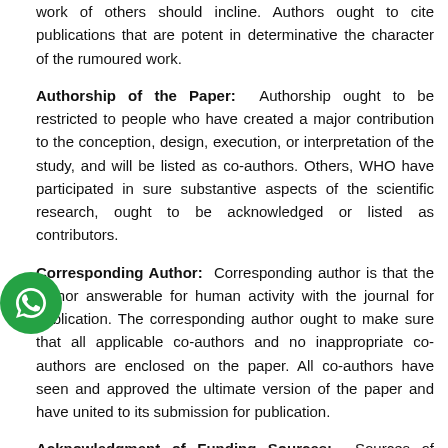work of others should incline. Authors ought to cite publications that are potent in determinative the character of the rumoured work.
Authorship of the Paper:  Authorship ought to be restricted to people who have created a major contribution to the conception, design, execution, or interpretation of the study, and will be listed as co-authors. Others, WHO have participated in sure substantive aspects of the scientific research, ought to be acknowledged or listed as contributors.
Corresponding Author:  Corresponding author is that the author answerable for human activity with the journal for publication. The corresponding author ought to make sure that all applicable co-authors and no inappropriate co-authors are enclosed on the paper. All co-authors have seen and approved the ultimate version of the paper and have united to its submission for publication.
Acknowledgment of Funding Sources:  Sources of funding for the analysis rumoured within the article ought to be punctually acknowledged at the top of the article.